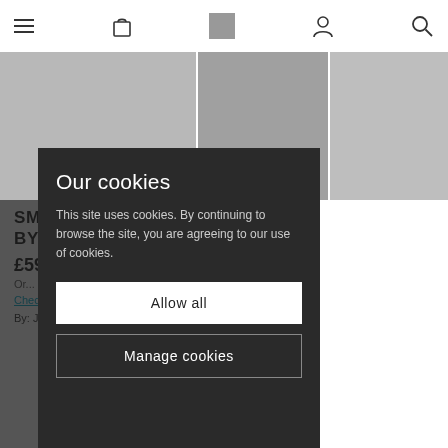Navigation bar with hamburger menu, bag icon, site logo (grey square), account icon, search icon
[Figure (photo): Three-panel artwork image in greyscale tones showing a partially visible artprint in black and white]
SMOKING GUN - BEAN (B/W) BY JJ ADAMS
£595 – £13,850  Framed
Or...
Check your eligibility
By: JJ Adams (view more artwork here)
[Figure (screenshot): Cookie consent modal overlay with title 'Our cookies', body text 'This site uses cookies. By continuing to browse the site, you are agreeing to our use of cookies.', Allow all button, and Manage cookies button]